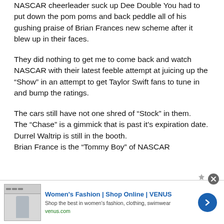NASCAR cheerleader suck up Dee Double You had to put down the pom poms and back peddle all of his gushing praise of Brian Frances new scheme after it blew up in their faces.
They did nothing to get me to come back and watch NASCAR with their latest feeble attempt at juicing up the “Show” in an attempt to get Taylor Swift fans to tune in and bump the ratings.
The cars still have not one shred of “Stock” in them.
The “Chase” is a gimmick that is past it’s expiration date.
Durrel Waltrip is still in the booth.
Brian France is the “Tommy Boy” of NASCAR
[Figure (other): Advertisement banner for Women's Fashion | Shop Online | VENUS. Shows a small website screenshot thumbnail on the left, ad title in blue bold text, subtitle text, venus.com URL in green, and a blue circular arrow button on the right. A close (X) button appears at top right.]